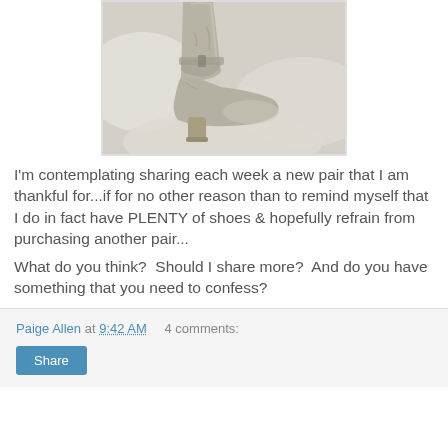[Figure (photo): A gray/beige leather ankle boot with a heel, photographed on a white fabric surface.]
I'm contemplating sharing each week a new pair that I am thankful for...if for no other reason than to remind myself that I do in fact have PLENTY of shoes & hopefully refrain from purchasing another pair...
What do you think?  Should I share more?  And do you have something that you need to confess?
Paige Allen at 9:42 AM    4 comments:    Share